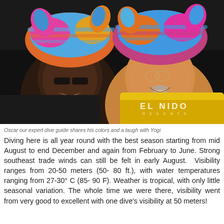[Figure (photo): Two men laughing and smiling together, both wearing colorful striped towels wrapped around their heads. The man on the left wears sunglasses and a dark shirt. The man on the right wears a yellow El Nido Resorts rash guard/wetsuit top. They appear joyful and playful.]
Oscar our expert dive guide shares his colors and a laugh with Yogi
Diving here is all year round with the best season starting from mid August to end December and again from February to June. Strong southeast trade winds can still be felt in early August.  Visibility ranges from 20-50 meters (50- 80 ft.), with water temperatures ranging from 27-30° C (85- 90 F). Weather is tropical, with only little seasonal variation. The whole time we were there, visibility went from very good to excellent with one dive's visibility at 50 meters!